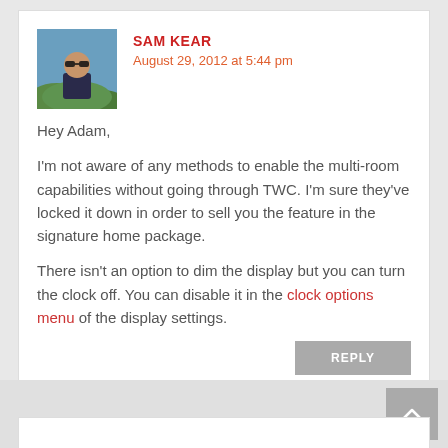[Figure (photo): Avatar photo of Sam Kear, a man wearing sunglasses and a dark t-shirt, outdoors with trees/hills in the background.]
SAM KEAR
August 29, 2012 at 5:44 pm
Hey Adam,
I'm not aware of any methods to enable the multi-room capabilities without going through TWC. I'm sure they've locked it down in order to sell you the feature in the signature home package.
There isn't an option to dim the display but you can turn the clock off. You can disable it in the clock options menu of the display settings.
REPLY